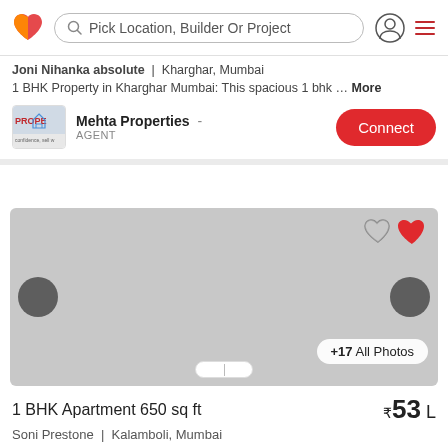Pick Location, Builder Or Project
Joni Nihanka absolute  |  Kharghar, Mumbai
1 BHK Property in Kharghar Mumbai: This spacious 1 bhk … More
Mehta Properties  -  AGENT
[Figure (screenshot): Property image placeholder (gray rectangle) with heart icons, navigation arrows, +17 All Photos badge, and page indicator dots]
1 BHK Apartment 650 sq ft  ₹53 L
Soni Prestone  |  Kalamboli, Mumbai
1 BHK Property in Kalamboli Mumbai: It has an area of 650… More